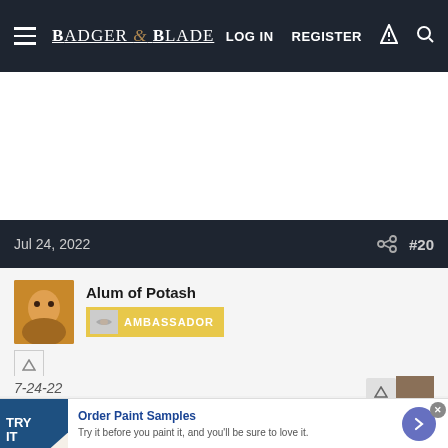Badger & Blade — LOG IN   REGISTER
[Figure (other): White advertisement space area]
Jul 24, 2022   #20
Alum of Potash — AMBASSADOR
[Figure (other): Bottom advertisement banner: Order Paint Samples — Try it before you paint it, and you'll be sure to love it.]